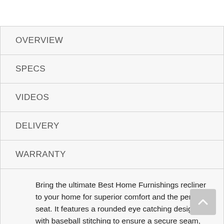OVERVIEW
SPECS
VIDEOS
DELIVERY
WARRANTY
Bring the ultimate Best Home Furnishings recliner to your home for superior comfort and the perfect seat. It features a rounded eye catching design with baseball stitching to ensure a secure seam, while offering a decorative accent. A cooler, extra durable cushioned chaise lounge with our Performa-Weave technology offers comfort where